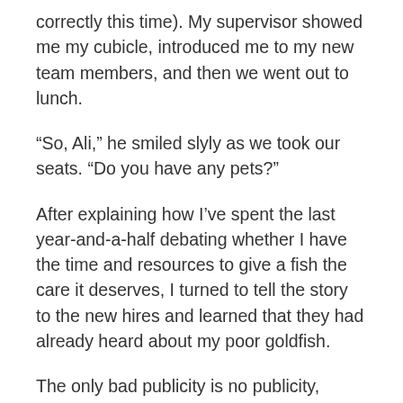correctly this time). My supervisor showed me my cubicle, introduced me to my new team members, and then we went out to lunch.
“So, Ali,” he smiled slyly as we took our seats. “Do you have any pets?”
After explaining how I’ve spent the last year-and-a-half debating whether I have the time and resources to give a fish the care it deserves, I turned to tell the story to the new hires and learned that they had already heard about my poor goldfish.
The only bad publicity is no publicity, right?
Last Wednesday was my one-month anniversary as a full-time employee. To celebrate (or maybe coincidentally), the company gave us free baseball